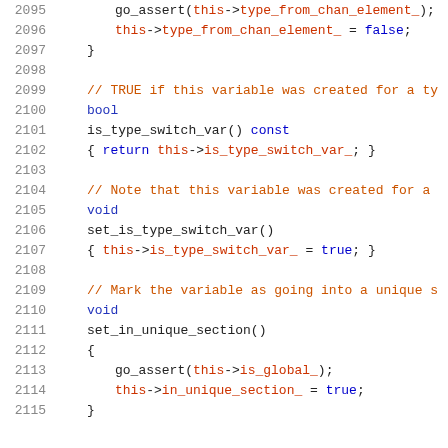Source code snippet, lines 2095-2115, showing C++ class methods including is_type_switch_var() and set_is_type_switch_var() and set_in_unique_section()